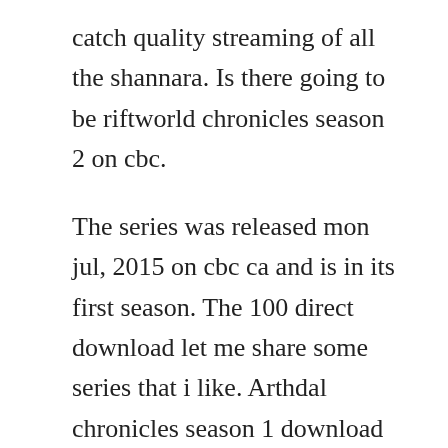catch quality streaming of all the shannara. Is there going to be riftworld chronicles season 2 on cbc.
The series was released mon jul, 2015 on cbc ca and is in its first season. The 100 direct download let me share some series that i like. Arthdal chronicles season 1 download full 480p 720p full. Submit your designs and tahmoh penikett, erin karpluk and jonathan williams will judge which one will become our official poster for riftworld chronicles season 1. Yify hd torrent download free movie